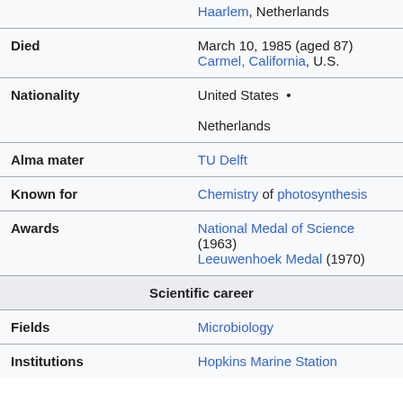| Field | Value |
| --- | --- |
|  | Haarlem, Netherlands |
| Died | March 10, 1985 (aged 87)
Carmel, California, U.S. |
| Nationality | United States • Netherlands |
| Alma mater | TU Delft |
| Known for | Chemistry of photosynthesis |
| Awards | National Medal of Science (1963)
Leeuwenhoek Medal (1970) |
| Scientific career |  |
| Fields | Microbiology |
| Institutions | Hopkins Marine Station |